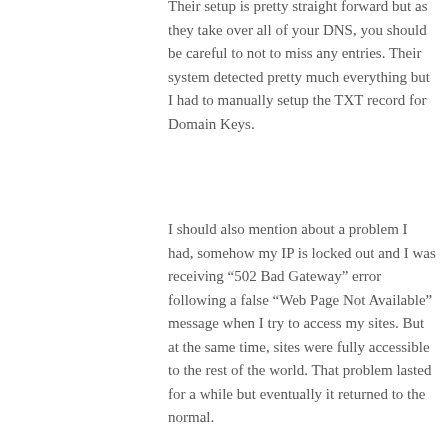Their setup is pretty straight forward but as they take over all of your DNS, you should be careful to not to miss any entries. Their system detected pretty much everything but I had to manually setup the TXT record for Domain Keys.
I should also mention about a problem I had, somehow my IP is locked out and I was receiving “502 Bad Gateway” error following a false “Web Page Not Available” message when I try to access my sites. But at the same time, sites were fully accessible to the rest of the world. That problem lasted for a while but eventually it returned to the normal.
There are also some reports of false errors over the web (Google “cloudflare 502”) but don’t forget CF is currently in beta.
Another thing to consider is the pages that is shown to users in case of a failure or blocking. Those pages contain CloudFlare links & logo and there are some who not fond of this. You may beg to differ but for a FREE service that is OK with...